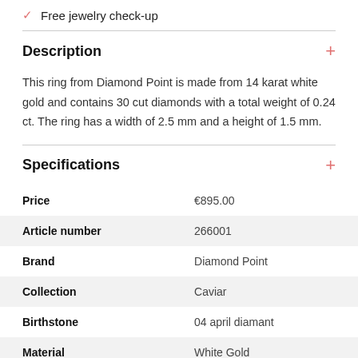✓ Free jewelry check-up
Description
This ring from Diamond Point is made from 14 karat white gold and contains 30 cut diamonds with a total weight of 0.24 ct. The ring has a width of 2.5 mm and a height of 1.5 mm.
Specifications
|  |  |
| --- | --- |
| Price | €895.00 |
| Article number | 266001 |
| Brand | Diamond Point |
| Collection | Caviar |
| Birthstone | 04 april diamant |
| Material | White Gold |